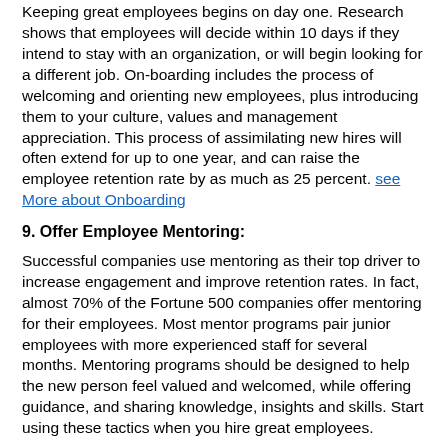Keeping great employees begins on day one. Research shows that employees will decide within 10 days if they intend to stay with an organization, or will begin looking for a different job. On-boarding includes the process of welcoming and orienting new employees, plus introducing them to your culture, values and management appreciation. This process of assimilating new hires will often extend for up to one year, and can raise the employee retention rate by as much as 25 percent. see More about Onboarding
9. Offer Employee Mentoring:
Successful companies use mentoring as their top driver to increase engagement and improve retention rates. In fact, almost 70% of the Fortune 500 companies offer mentoring for their employees. Most mentor programs pair junior employees with more experienced staff for several months. Mentoring programs should be designed to help the new person feel valued and welcomed, while offering guidance, and sharing knowledge, insights and skills. Start using these tactics when you hire great employees.
10. Open Communications:
Keep employees engaged with open and frequent communications to help foster trust and respect for the managers and for awareness of the direction of the organization. Management should provide clear expectations, and encourage all employees to ask questions and to offer feedback and suggestions. Let employees know how much their efforts contribute to your organization's objectives, and think about this when you are